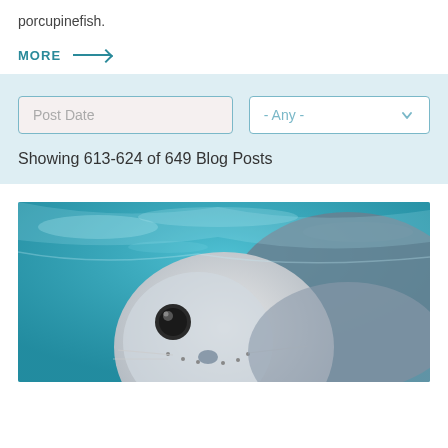porcupinefish.
MORE →
Post Date
- Any -
Showing 613-624 of 649 Blog Posts
[Figure (photo): Underwater close-up photo of a seal looking upward toward the camera, with turquoise water and light reflections in the background.]